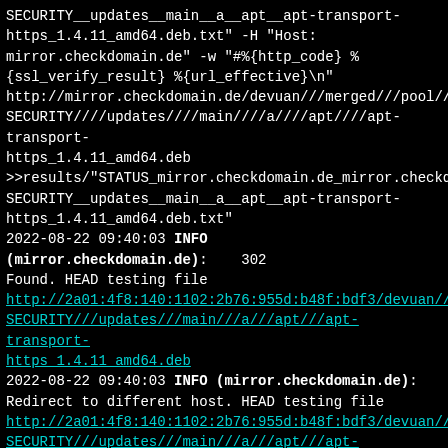SECURITY__updates__main__a__apt__apt-transport-https_1.4.11_amd64.deb.txt" -H "Host: mirror.checkdomain.de" -w "#%{http_code} %{ssl_verify_result} %{url_effective}\n" http://mirror.checkdomain.de/devuan///merged///pool///DEBIAN-SECURITY////updates////main////a////apt////apt-transport-https_1.4.11_amd64.deb >>results/"STATUS_mirror.checkdomain.de_mirror.checkdomain.de_SECURITY__updates__main__a__apt__apt-transport-https_1.4.11_amd64.deb.txt"
2022-08-22 09:40:03 INFO (mirror.checkdomain.de):    302 Found. HEAD testing file
http://2a01:4f8:140:1102:2b76:955d:b48f:bdf3/devuan///merged///pool///DEBIAN-SECURITY///updates///main///a///apt///apt-transport-https_1.4.11_amd64.deb
2022-08-22 09:40:03 INFO (mirror.checkdomain.de): Redirect to different host. HEAD testing file
http://2a01:4f8:140:1102:2b76:955d:b48f:bdf3/devuan///merged///pool///DEBIAN-SECURITY///updates///main///a///apt///apt-transport-https_1.4.11_amd64.deb -> http://deb.debian.org/debian-security/pool/updates/main/a/apt/apt-transport-https_1.4.11_amd64.deb
2022-08-22 09:40:03 INFO (mirror.checkdomain.de):    Now checking redirected host deb.debian.org//debian-security/pool/updates/main/a/apt/apt-transport-https_1.4.11_amd64.deb  for
http://2a01:4f8:140:1102:2b76:955d:b48f:bdf3/devuan///merged///po